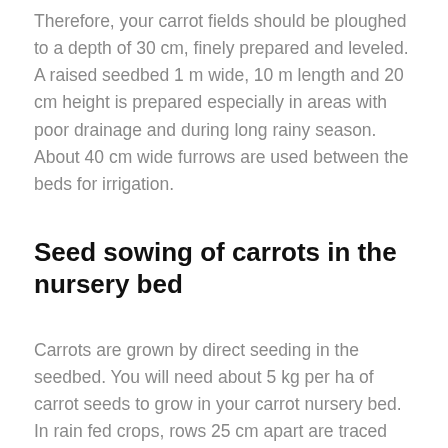Therefore, your carrot fields should be ploughed to a depth of 30 cm, finely prepared and leveled. A raised seedbed 1 m wide, 10 m length and 20 cm height is prepared especially in areas with poor drainage and during long rainy season. About 40 cm wide furrows are used between the beds for irrigation.
Seed sowing of carrots in the nursery bed
Carrots are grown by direct seeding in the seedbed. You will need about 5 kg per ha of carrot seeds to grow in your carrot nursery bed. In rain fed crops, rows 25 cm apart are traced